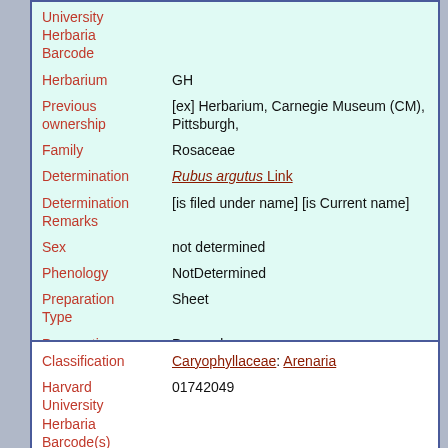| Field | Value |
| --- | --- |
| University Herbaria Barcode |  |
| Herbarium | GH |
| Previous ownership | [ex] Herbarium, Carnegie Museum (CM), Pittsburgh, |
| Family | Rosaceae |
| Determination | Rubus argutus Link |
| Determination Remarks | [is filed under name] [is Current name] |
| Sex | not determined |
| Phenology | NotDetermined |
| Preparation Type | Sheet |
| Preparation Method | Pressed |
| Field | Value |
| --- | --- |
| Classification | Caryophyllaceae: Arenaria |
| Harvard University Herbaria Barcode(s) | 01742049 |